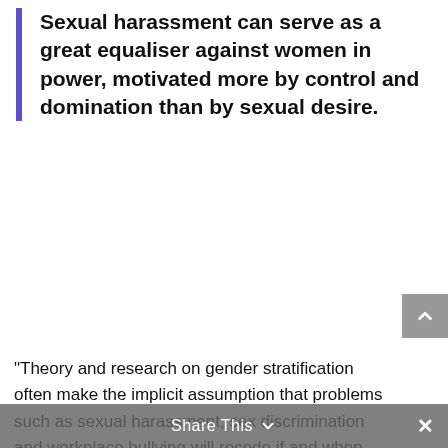Sexual harassment can serve as a great equaliser against women in power, motivated more by control and domination than by sexual desire.
"Theory and research on gender stratification often make the implicit assumption that problems such as sexual harassment, sex discrimination and workplace bullying will recede if and when women attain greater power at work," the analysis by Heather McLaughlin from the University of Minnesota and colleagues, says.
"Yet power in the form of supervisory authority also provokes backlash from clients, subordinate and fellow supervisors.
Share This ∨  ✕